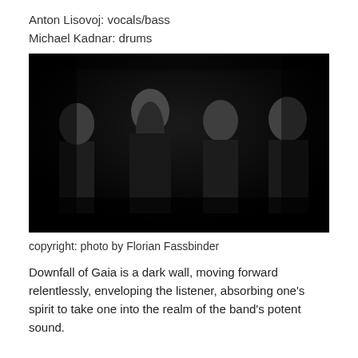Anton Lisovoj: vocals/bass
Michael Kadnar: drums
[Figure (photo): Black and white band photo of four male band members standing against a dark background, wearing black metal band t-shirts and vests.]
copyright: photo by Florian Fassbinder
Downfall of Gaia is a dark wall, moving forward relentlessly, enveloping the listener, absorbing one's spirit to take one into the realm of the band's potent sound.